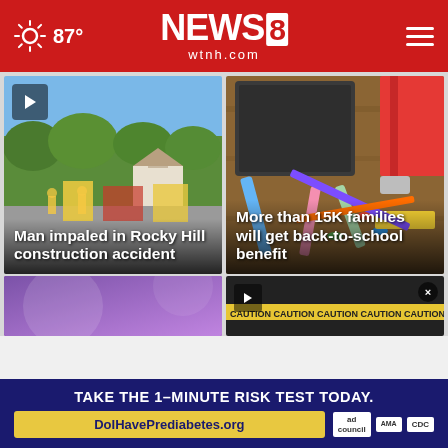87° NEWS 8 wtnh.com
[Figure (screenshot): News card: Man impaled in Rocky Hill construction accident - outdoor scene with emergency vehicles]
[Figure (screenshot): News card: More than 15K families will get back-to-school benefit - school supplies on a desk]
[Figure (screenshot): Bottom left news card - partial purple/violet background]
[Figure (screenshot): Bottom right news card - partial dark background with police tape]
TAKE THE 1-MINUTE RISK TEST TODAY.
DoIHavePrediabetes.org